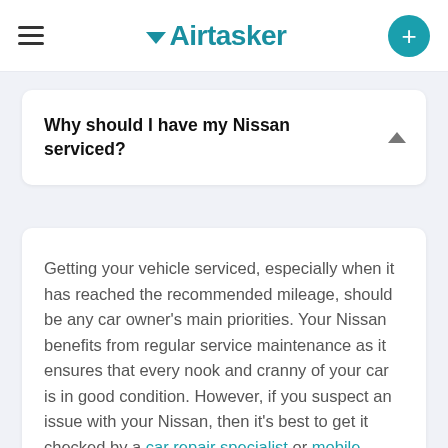Airtasker
Why should I have my Nissan serviced?
Getting your vehicle serviced, especially when it has reached the recommended mileage, should be any car owner's main priorities. Your Nissan benefits from regular service maintenance as it ensures that every nook and cranny of your car is in good condition. However, if you suspect an issue with your Nissan, then it's best to get it checked by a car repair specialist or mobile